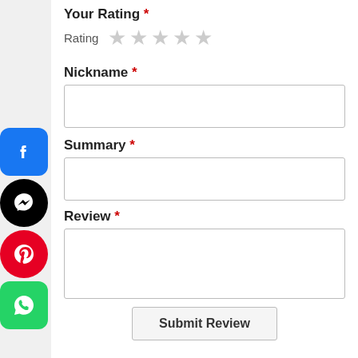Your Rating *
Rating ★★★★★
Nickname *
[Figure (screenshot): Single-line text input box for Nickname]
Summary *
[Figure (screenshot): Single-line text input box for Summary]
Review *
[Figure (screenshot): Multi-line textarea for Review]
[Figure (logo): Facebook icon - blue square with white F]
[Figure (logo): Facebook Messenger icon - black circle with lightning bolt]
[Figure (logo): Pinterest icon - red circle with white P]
[Figure (logo): WhatsApp icon - green square with white phone]
Submit Review